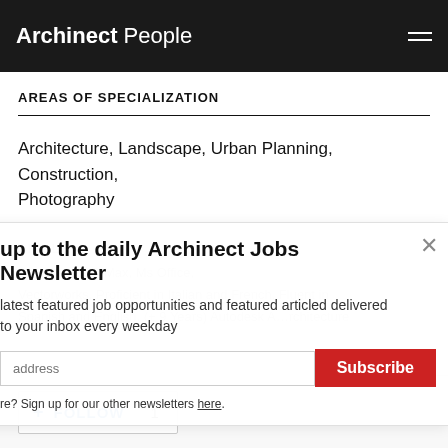Archinect People
AREAS OF SPECIALIZATION
Architecture, Landscape, Urban Planning, Construction, Photography
SKILLS
up to the daily Archinect Jobs Newsletter
latest featured job opportunities and featured articled delivered to your inbox every weekday
address
Subscribe
re? Sign up for our other newsletters here.
Sketch-up, 3D Max, Ms Office, Vectorworks, Proficient in Italian and French, Fluent in Spanish and English, (+ 9 Years) Autodesk Architecture
+ FOLLOW  1